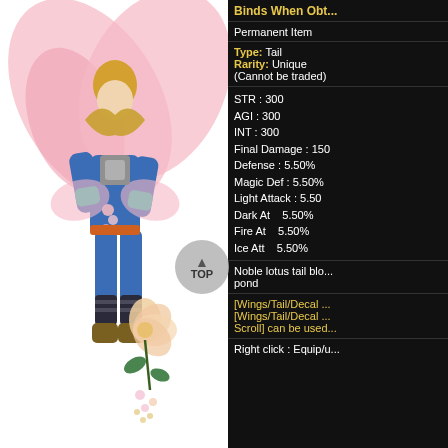[Figure (illustration): Game character with wings and flowers shown from behind, wearing blue outfit, with a separate flower decoration item shown to the lower right]
Binds When Obt...
Permanent Item
Type: Tail
Rarity: Unique
(Cannot be traded)
STR : 300
AGI : 300
INT : 300
Final Damage : 150
Defense : 5.50%
Magic Def : 5.50%
Light Attack : 5.50
Dark At... 5.50%
Fire At... 5.50%
Ice Att... 5.50%
Noble lotus tail blo... pond
[Wings/Tail/Decal ...
[Wings/Tail/Decal ...
Scroll] can be used
Right click : Equip/u...